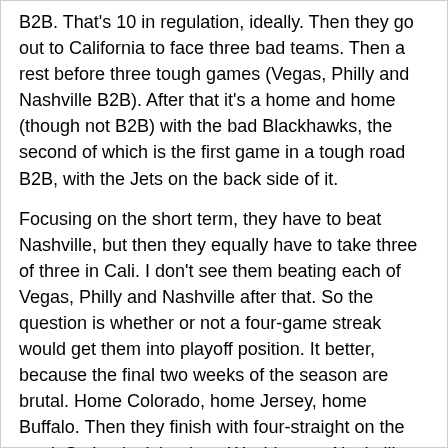B2B.  That's 10 in regulation, ideally.  Then they go out to California to face three bad teams.  Then a rest before three tough games (Vegas, Philly and Nashville B2B).  After that it's a home and home (though not B2B) with the bad Blackhawks, the second of which is the first game in a tough road B2B, with the Jets on the back side of it.
Focusing on the short term, they have to beat Nashville, but then they equally have to take three of three in Cali.  I don't see them beating each of Vegas, Philly and Nashville after that.  So the question is whether or not a four-game streak would get them into playoff position.  It better, because the final two weeks of the season are brutal.  Home Colorado, home Jersey, home Buffalo.  Then they finish with four-straight on the road: St. Louis, Islanders, Washington, Nashville. Maybe Jersey and Buffalo can be projected as wins?  And do you want to face Nashville - in Nashville - for game 82 with that wild card spot on the line?
Here's how I see it working out:
Nashville W
@ San Jose W